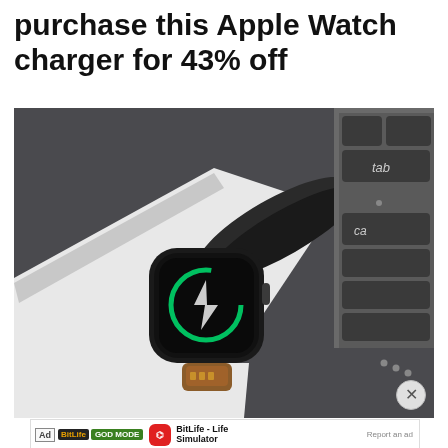purchase this Apple Watch charger for 43% off
[Figure (photo): Apple Watch being charged via a compact USB charger plugged into a MacBook laptop, showing a green charging circle with lightning bolt icon on the watch face. The watch has a white band and brown leather USB connector tip. MacBook keyboard keys including 'tab' and 'cap' visible in background.]
[Figure (screenshot): Advertisement banner for BitLife - Life Simulator app, showing a cartoon character with heart eyes, the BitLife app icon (red background with white sperm icon), app name 'BitLife - Life Simulator', 'Report an ad' link, and 'Install!' button. Ad label and GOD MODE badge visible.]